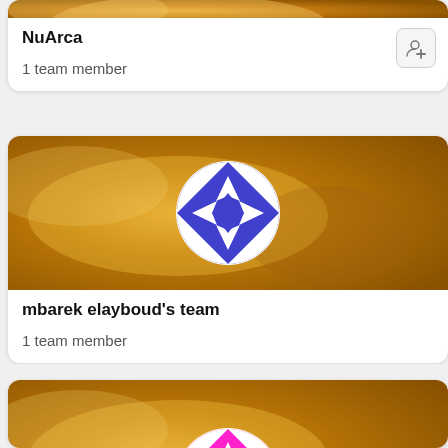[Figure (screenshot): Top card showing NuArca team with orange planetary background banner (cropped top), white card info area with team name and member count, and add member button]
NuArca
1 team member
[Figure (screenshot): Second card showing mbarek elayboud's team with orange planetary background banner and blue geometric circular avatar logo in center]
mbarek elayboud's team
1 team member
[Figure (screenshot): Third card (partial) showing orange planetary background banner with pink/magenta geometric circular avatar logo in center]